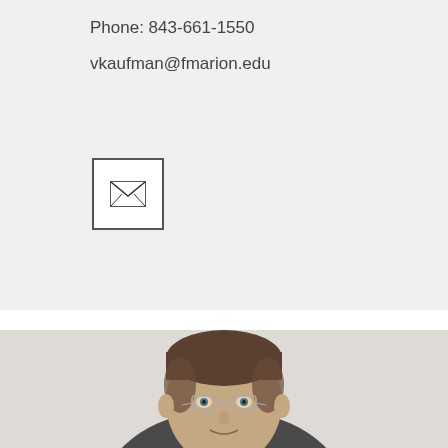Phone: 843-661-1550
vkaufman@fmarion.edu
[Figure (illustration): Email icon — small envelope symbol inside a square border]
[Figure (photo): Professional headshot of a man with short brown hair, wearing glasses, a light blue shirt, and a dark jacket, photographed against a light grey background]